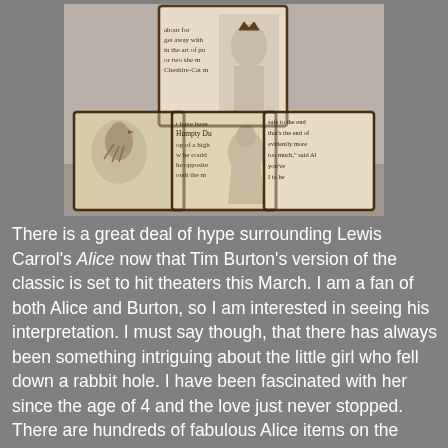[Figure (photo): Photograph of decorative wooden blocks featuring Alice in Wonderland illustrations and text from the books, arranged in a pyramid-like stack on a grey background.]
There is a great deal of hype surrounding Lewis Carrol's Alice now that Tim Burton's version of the classic is set to hit theaters this March. I am a fan of both Alice and Burton, so I am interested in seeing his interpretation. I must say though, that there has always been something intriguing about the little girl who fell down a rabbit hole. I have been fascinated with her since the age of 4 and the love just never stopped. There are hundreds of fabulous Alice items on the market right now, but these blocks are the most original and wonderful item that I have found. They make great decorative pieces for Alice fans and The Alice are several